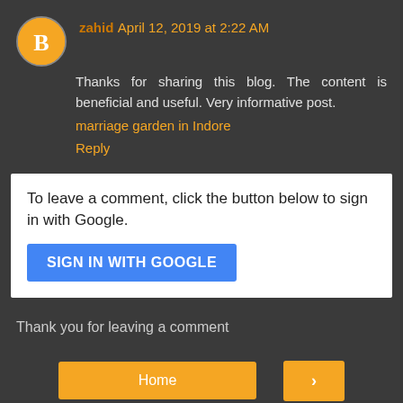zahid April 12, 2019 at 2:22 AM
Thanks for sharing this blog. The content is beneficial and useful. Very informative post.
marriage garden in Indore
Reply
To leave a comment, click the button below to sign in with Google.
SIGN IN WITH GOOGLE
Thank you for leaving a comment
Home
>
View web version
Powered by Blogger.